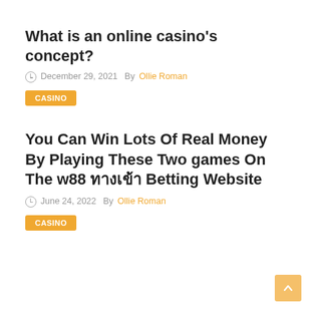What is an online casino’s concept?
◎ December 29, 2021  By Ollie Roman
CASINO
You Can Win Lots Of Real Money By Playing These Two games On The w88 ทางเข้า Betting Website
◎ June 24, 2022  By Ollie Roman
CASINO